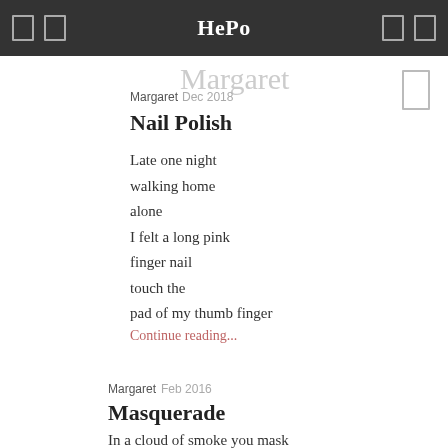HePo
Margaret Dec 2018
Nail Polish
Late one night
walking home
alone
I felt a long pink
finger nail
touch the
pad of my thumb finger
Continue reading...
Margaret Feb 2016
Masquerade
In a cloud of smoke you mask